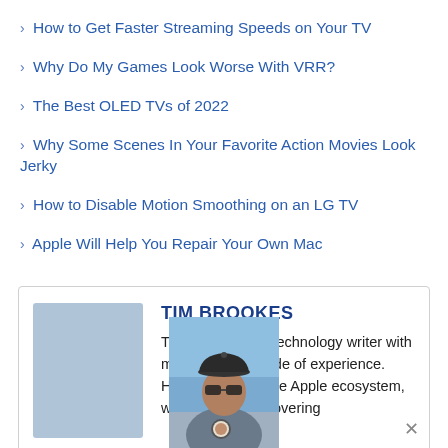› How to Get Faster Streaming Speeds on Your TV
› Why Do My Games Look Worse With VRR?
› The Best OLED TVs of 2022
› Why Some Scenes In Your Favorite Action Movies Look Jerky
› How to Disable Motion Smoothing on an LG TV
› Apple Will Help You Repair Your Own Mac
TIM BROOKES
Tim Brookes is a technology writer with more than a decade of experience. He's invested in the Apple ecosystem, with experience covering
[Figure (photo): Headshot photo of Tim Brookes, a man wearing a baseball cap, sunglasses, and a grey Pepsi t-shirt, photographed outdoors against a blue sky.]